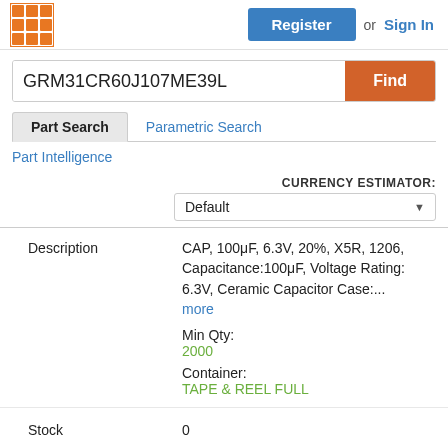Register or Sign In
GRM31CR60J107ME39L
Part Search | Parametric Search
Part Intelligence
CURRENCY ESTIMATOR: Default
| Field | Value |
| --- | --- |
| Description | CAP, 100μF, 6.3V, 20%, X5R, 1206, Capacitance:100μF, Voltage Rating: 6.3V, Ceramic Capacitor Case:... more
Min Qty:
2000
Container:
TAPE & REEL FULL |
| Stock | 0 |
| Price |  |